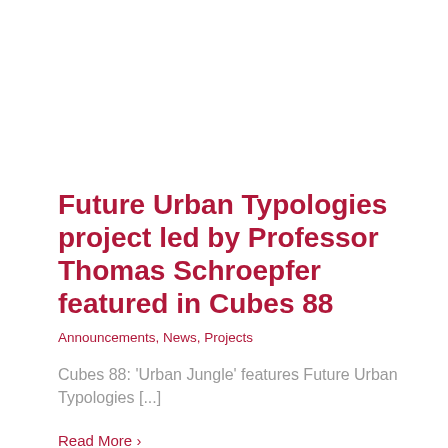Future Urban Typologies project led by Professor Thomas Schroepfer featured in Cubes 88
Announcements, News, Projects
Cubes 88: 'Urban Jungle' features Future Urban Typologies [...]
Read More ›